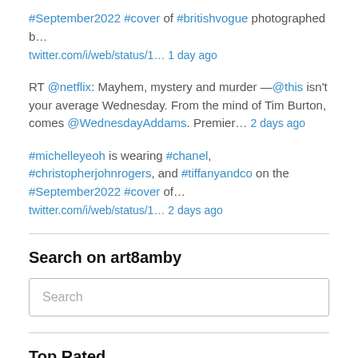#September2022 #cover of #britishvogue photographed b… twitter.com/i/web/status/1… 1 day ago
RT @netflix: Mayhem, mystery and murder —@this isn't your average Wednesday. From the mind of Tim Burton, comes @WednesdayAddams. Premier… 2 days ago
#michelleyeoh is wearing #chanel, #christopherjohnrogers, and #tiffanyandco on the #September2022 #cover of… twitter.com/i/web/status/1… 2 days ago
Search on art8amby
Search
Top Rated